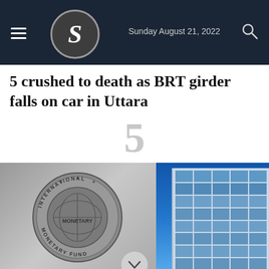Sunday August 21, 2022
5 crushed to death as BRT girder falls on car in Uttara
5
[Figure (photo): Left side shows the International Monetary Fund (IMF) circular seal/emblem in silver on a wall. Right side shows a modern glass and steel building exterior against a clear blue sky.]